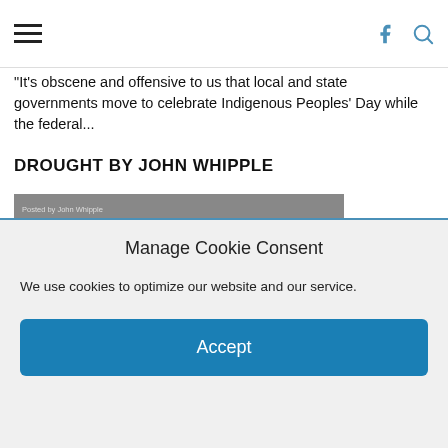Navigation menu with hamburger icon, Facebook icon, and search icon
"It's obscene and offensive to us that local and state governments move to celebrate Indigenous Peoples' Day while the federal...
DROUGHT BY JOHN WHIPPLE
[Figure (photo): Black and white video thumbnail showing a drought-affected field with dry grass. Overlay text reads 'Posted by John Whipple' and '42 Views'. A play button icon is visible in the center.]
Manage Cookie Consent
We use cookies to optimize our website and our service.
Accept